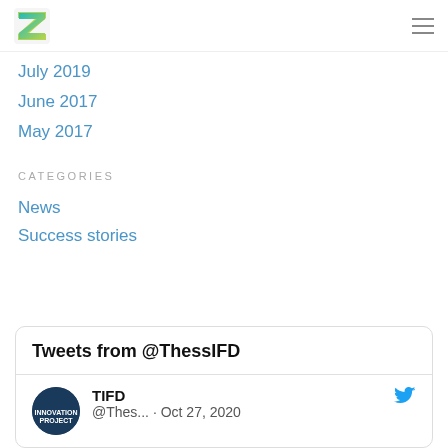Z logo and hamburger menu
July 2019
June 2017
May 2017
CATEGORIES
News
Success stories
Tweets from @ThessIFD
TIFD @Thes... · Oct 27, 2020